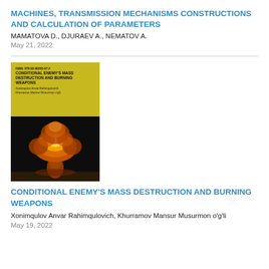MACHINES, TRANSMISSION MECHANISMS CONSTRUCTIONS AND CALCULATION OF PARAMETERS
MAMATOVA D., DJURAEV A., NEMATOV A.
May 21, 2022
[Figure (photo): Book cover of 'Conditional Enemy's Mass Destruction and Burning Weapons' with a yellow upper section showing the ISBN and title, and a lower section showing a nuclear explosion mushroom cloud on a dark background. Published by Monsieux Publications.]
CONDITIONAL ENEMY'S MASS DESTRUCTION AND BURNING WEAPONS
Xonimqulov Anvar Rahimqulovich, Khurramov Mansur Musurmon o'g'li
May 19, 2022